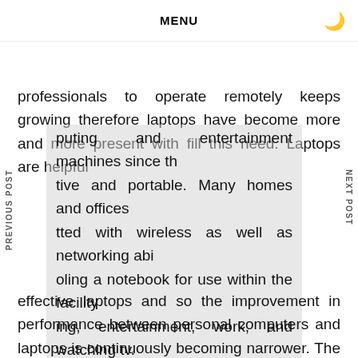MENU
professionals to operate remotely keeps growing therefore laptops have become more and more present with fill this need. Laptops are helpful puting and entertainment machines since th tive and portable. Many homes and offices tted with wireless as well as networking abi oling a notebook for use within the facility ing, entertainment, work, and watching tv. ving computer and technology industry has ... ability to make smaller sized and much more effective laptops and so the improvement in performance between personal computers and laptops is continuously becoming narrower. The requirement for individuals society to operate